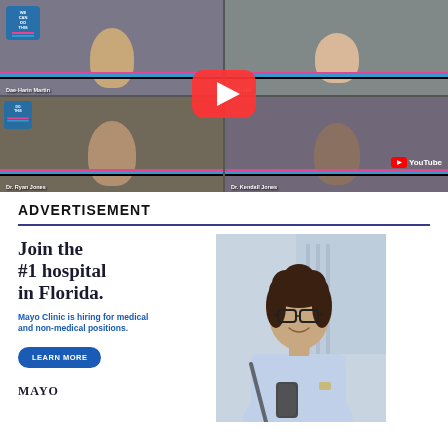[Figure (screenshot): YouTube video thumbnail showing a virtual panel with four participants in a 2x2 grid layout. 'We Can Do This' logos visible. A large red YouTube play button overlaid in the center. YouTube logo/badge in bottom right.]
ADVERTISEMENT
[Figure (advertisement): Mayo Clinic advertisement. Text: 'Join the #1 hospital in Florida. Mayo Clinic is hiring for medical and non-medical positions.' with a LEARN MORE button and Mayo Clinic logo. Photo of a smiling woman with glasses holding a phone.]